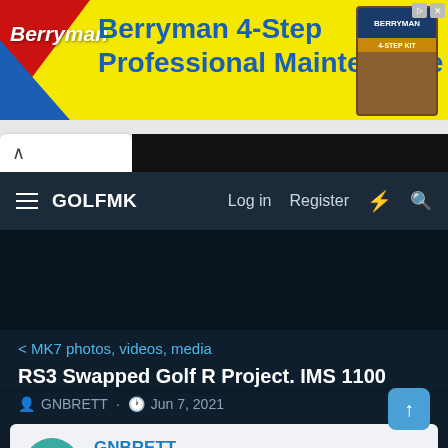[Figure (screenshot): Berryman 4-Step Professional Maintenance kit advertisement banner with yellow background, red and blue diagonal design, and product image on right]
[Figure (screenshot): Browser chrome with white tab showing up arrow and black bar to the right]
GOLFMK  Log in  Register
[Figure (screenshot): Dark navy content area with media gallery placeholder image]
< MK7 photos, videos, media
RS3 Swapped Golf R Project. IMS 1100
GNBRETT · Jun 7, 2021
GNBRETT
Go Kart Champion